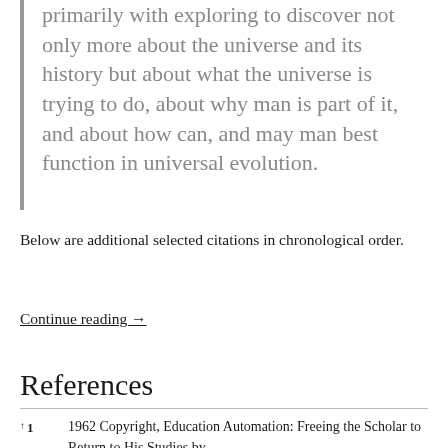primarily with exploring to discover not only more about the universe and its history but about what the universe is trying to do, about why man is part of it, and about how can, and may man best function in universal evolution.
Below are additional selected citations in chronological order.
Continue reading →
References
↑1  1962 Copyright, Education Automation: Freeing the Scholar to Return to His Studies by